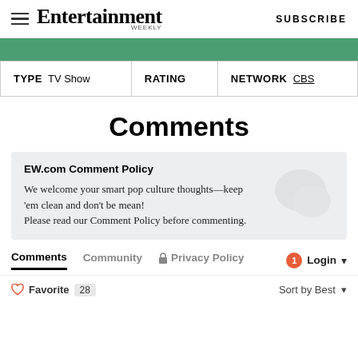Entertainment Weekly — SUBSCRIBE
[Figure (other): Green decorative bar]
| TYPE | RATING | NETWORK |
| --- | --- | --- |
| TV Show |  | CBS |
Comments
EW.com Comment Policy
We welcome your smart pop culture thoughts—keep 'em clean and don't be mean!
Please read our Comment Policy before commenting.
Comments   Community   Privacy Policy   1 Login ▾
♡ Favorite  28   Sort by Best ▾